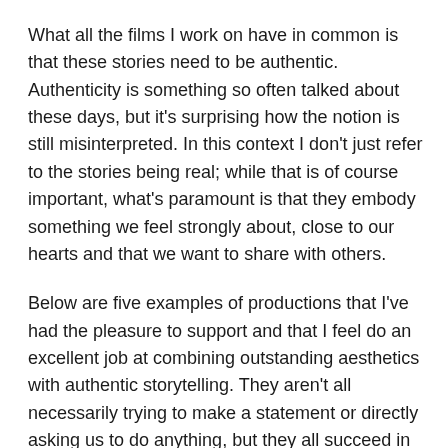What all the films I work on have in common is that these stories need to be authentic. Authenticity is something so often talked about these days, but it's surprising how the notion is still misinterpreted. In this context I don't just refer to the stories being real; while that is of course important, what's paramount is that they embody something we feel strongly about, close to our hearts and that we want to share with others.
Below are five examples of productions that I've had the pleasure to support and that I feel do an excellent job at combining outstanding aesthetics with authentic storytelling. They aren't all necessarily trying to make a statement or directly asking us to do anything, but they all succeed in sharing stories that we can connect with on an emotional level.